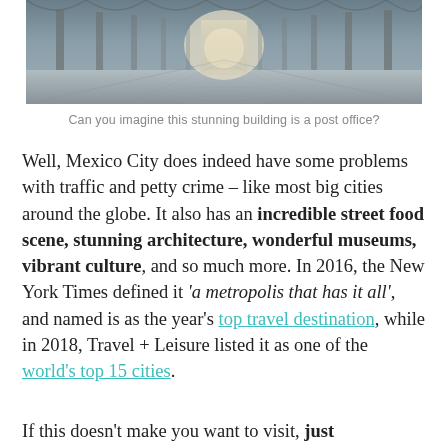[Figure (photo): Interior of a grand architectural hall with high arched ceiling, marble floors with circular patterns, and a bright opening at the far end — described as a post office in Mexico City.]
Can you imagine this stunning building is a post office?
Well, Mexico City does indeed have some problems with traffic and petty crime – like most big cities around the globe. It also has an incredible street food scene, stunning architecture, wonderful museums, vibrant culture, and so much more. In 2016, the New York Times defined it 'a metropolis that has it all', and named is as the year's top travel destination, while in 2018, Travel + Leisure listed it as one of the world's top 15 cities.
If this doesn't make you want to visit, just